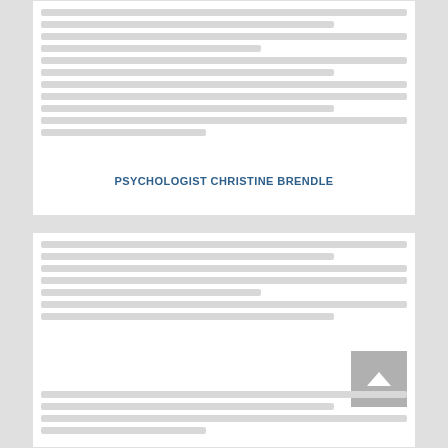[body text lines — top card content, blurred/redacted]
PSYCHOLOGIST CHRISTINE BRENDLE
[body text lines — bottom card content, blurred/redacted]